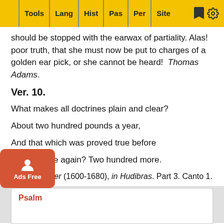Tools | Lang | Hist | Pas | Per | Site
should be stopped with the earwax of partiality. Alas! poor truth, that she must now be put to charges of a golden ear pick, or she cannot be heard! Thomas Adams.
Ver. 10.
What makes all doctrines plain and clear?
About two hundred pounds a year,
And that which was proved true before
Proved false again? Two hundred more.
Samuel Butler (1600-1680), in Hudibras. Part 3. Canto 1.
TS TO THE VILLAGE PREACHER
e.
Psalm